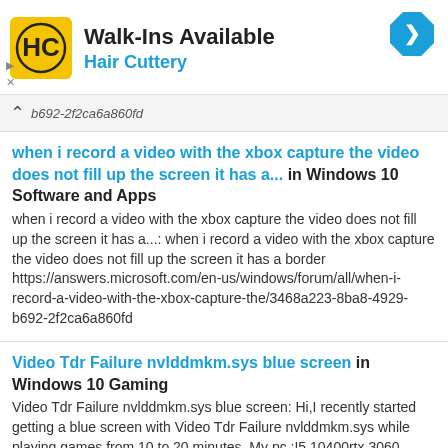[Figure (screenshot): Hair Cuttery advertisement banner with logo, 'Walk-Ins Available' heading, blue hair cuttery text, and blue navigation arrow icon]
b692-2f2ca6a860fd
when i record a video with the xbox capture the video does not fill up the screen it has a... in Windows 10 Software and Apps
when i record a video with the xbox capture the video does not fill up the screen it has a...: when i record a video with the xbox capture the video does not fill up the screen it has a border https://answers.microsoft.com/en-us/windows/forum/all/when-i-record-a-video-with-the-xbox-capture-the/3468a223-8ba8-4929-b692-2f2ca6a860fd
Video Tdr Failure nvlddmkm.sys blue screen in Windows 10 Gaming
Video Tdr Failure nvlddmkm.sys blue screen: Hi,I recently started getting a blue screen with Video Tdr Failure nvlddmkm.sys while playing games from 10 to 20 minutes. My pc :I5 10400rtx 3060 16GB ramI checked temperatures but everything seems fine with 50C on cpu and gpu while playing. I tried some fix from internet...